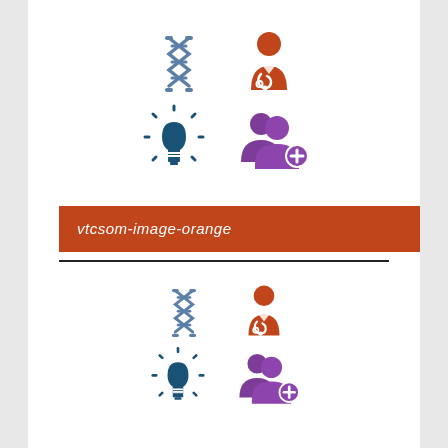[Figure (infographic): Four medical/science icons: DNA helix (steel blue), doctor with stethoscope (orange), lightbulb with rays (dark blue), add user/patient group (purple). Arranged 2x2 grid.]
vtcsom-image-orange
[Figure (infographic): Same four icons repeated: DNA helix (steel blue), doctor with stethoscope (orange), lightbulb with rays (dark blue), add user/patient group (purple). Arranged 2x2 grid, slightly smaller.]